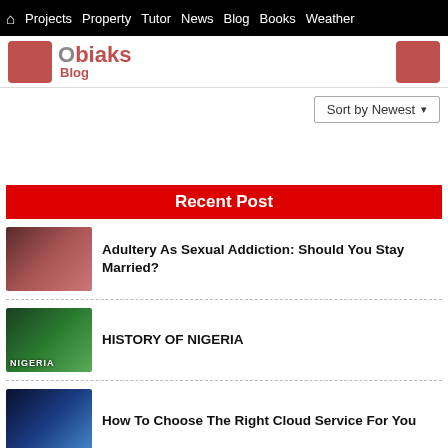Projects | Property | Tutor | News | Blog | Books | Weather
[Figure (logo): Obiaks Blog logo with red square icon and red/grey text]
Sort by Newest
Recent Post
Adultery As Sexual Addiction: Should You Stay Married?
HISTORY OF NIGERIA
How To Choose The Right Cloud Service For You